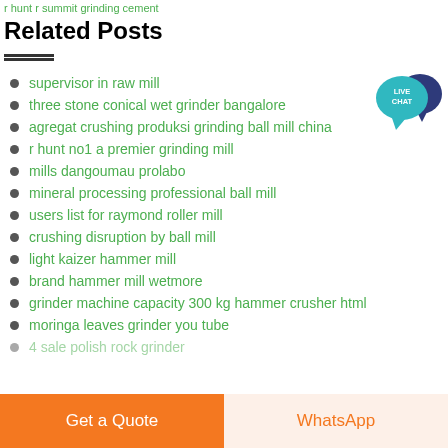r hunt r summit grinding cement
Related Posts
supervisor in raw mill
three stone conical wet grinder bangalore
agregat crushing produksi grinding ball mill china
r hunt no1 a premier grinding mill
mills dangoumau prolabo
mineral processing professional ball mill
users list for raymond roller mill
crushing disruption by ball mill
light kaizer hammer mill
brand hammer mill wetmore
grinder machine capacity 300 kg hammer crusher html
moringa leaves grinder you tube
4 sale polish rock grinder
[Figure (illustration): Live Chat badge with teal chat bubble and dark blue speech bubble icons, with text LIVE CHAT in white]
Get a Quote
WhatsApp